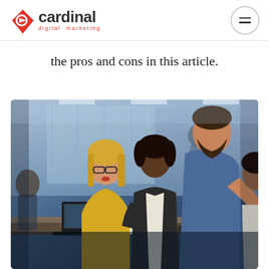Cardinal Digital Marketing
the pros and cons in this article.
[Figure (photo): Office meeting scene with several professionals around a table; a bearded man in a blue shirt stands gesturing while a woman in a yellow sweater with glasses and a dark-haired woman in a blazer sit at the table with a laptop; another person is partially visible at the right edge. Background shows a glass-walled office.]